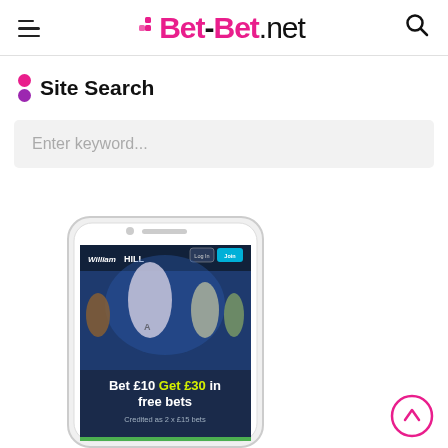Bet-Bet.net – Site Search
Site Search
Enter keyword...
[Figure (screenshot): A smartphone displaying the William Hill mobile app with a sports betting promotion: 'Bet £10 Get £30 in free bets – Credited as 2 x £15 bets'. The screen shows sports figures and a Log In / Join button.]